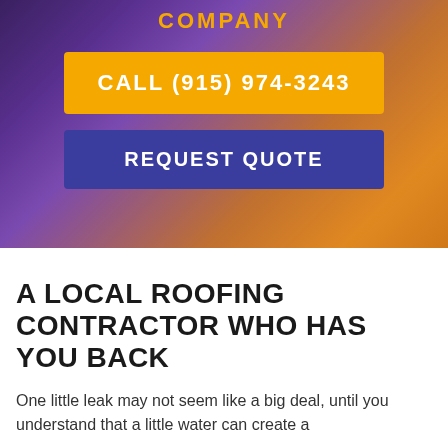COMPANY
CALL (915) 974-3243
REQUEST QUOTE
A LOCAL ROOFING CONTRACTOR WHO HAS YOU BACK
One little leak may not seem like a big deal, until you understand that a little water can create a